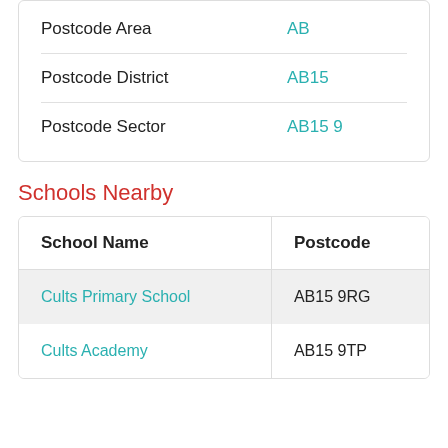|  |  |
| --- | --- |
| Postcode Area | AB |
| Postcode District | AB15 |
| Postcode Sector | AB15 9 |
Schools Nearby
| School Name | Postcode |
| --- | --- |
| Cults Primary School | AB15 9RG |
| Cults Academy | AB15 9TP |